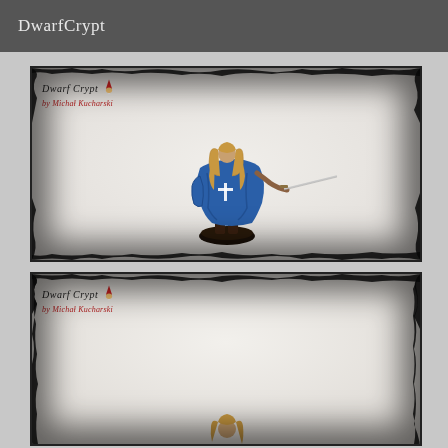DwarfCrypt
[Figure (photo): Painted miniature figure of a female warrior in a blue cloak holding a sword, standing on a dark round base. Dwarf Crypt watermark by Michal Kucharski with gnome icon in upper left corner.]
[Figure (photo): Second photo of same or similar painted miniature figure, partially shown. Dwarf Crypt watermark by Michal Kucharski with gnome icon in upper left corner. The figure is partially cropped at the bottom of the page.]